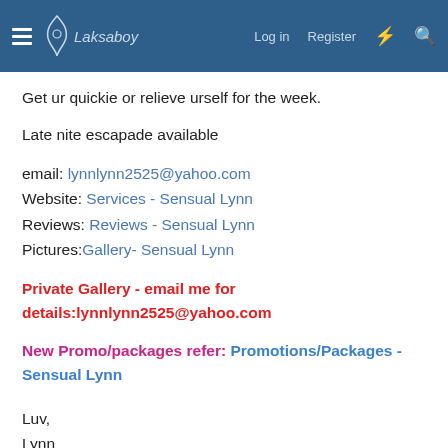Laksaboy  Log in  Register
Get ur quickie or relieve urself for the week.
Late nite escapade available
email: lynnlynn2525@yahoo.com
Website: Services - Sensual Lynn
Reviews: Reviews - Sensual Lynn
Pictures: Gallery- Sensual Lynn
Private Gallery - email me for details:lynnlynn2525@yahoo.com
New Promo/packages refer: Promotions/Packages - Sensual Lynn
Luv,
Lynn